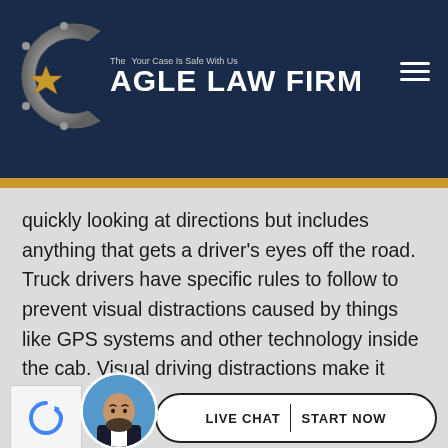[Figure (logo): Cagle Law Firm logo — metallic C shape with star, firm name in white bold uppercase, tagline 'Your Case Is Safe With Us' on dark navy background]
quickly looking at directions but includes anything that gets a driver's eyes off the road. Truck drivers have specific rules to follow to prevent visual distractions caused by things like GPS systems and other technology inside the cab. Visual driving distractions make it difficult for truck drivers to react to road conditions, causing events like failure to stop accidents.
[Figure (photo): Circular avatar photo of a bald bearded man in a suit against a blue background, with a reCAPTCHA logo and a Live Chat / Start Now button]
LIVE CHAT | START NOW